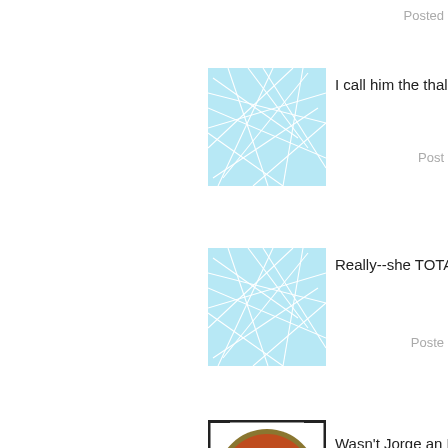Posted
[Figure (illustration): Abstract blue network/web pattern avatar]
I call him the thalosian becau
Post
[Figure (illustration): Abstract blue network/web pattern avatar]
Really--she TOTALLY is the l
Poste
[Figure (illustration): Round badge/patch avatar with red watermelon slice]
Wasn't Jorge an NBC tool?
Posted
[Figure (photo): Vintage black and white photo of group of people]
anonamom,

That has been the opinion of agree.

I am trying to imagine young happen.
Posted
[Figure (photo): Partial avatar image at bottom]